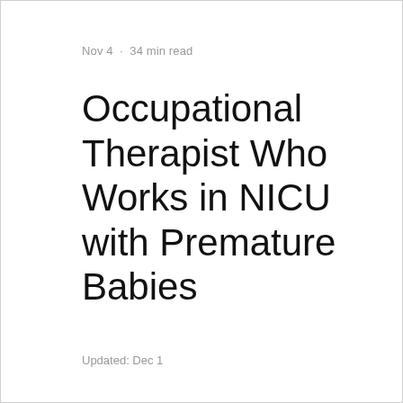Nov 4  ·  34 min read
Occupational Therapist Who Works in NICU with Premature Babies
Updated: Dec 1